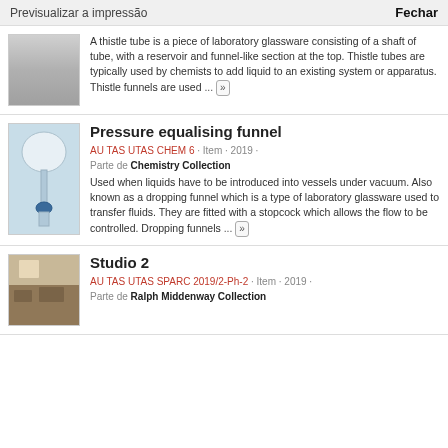Previsualizar a impressão    Fechar
[Figure (photo): Gray rectangular photo thumbnail of a thistle tube (laboratory glassware)]
A thistle tube is a piece of laboratory glassware consisting of a shaft of tube, with a reservoir and funnel-like section at the top. Thistle tubes are typically used by chemists to add liquid to an existing system or apparatus. Thistle funnels are used ... »
[Figure (photo): Photo of a pressure equalising funnel (dropping funnel) with blue stopcock on a white background]
Pressure equalising funnel
AU TAS UTAS CHEM 6 · Item · 2019 ·
Parte de Chemistry Collection
Used when liquids have to be introduced into vessels under vacuum. Also known as a dropping funnel which is a type of laboratory glassware used to transfer fluids. They are fitted with a stopcock which allows the flow to be controlled. Dropping funnels ... »
[Figure (photo): Photo of Studio 2 room interior with desks and chairs]
Studio 2
AU TAS UTAS SPARC 2019/2-Ph-2 · Item · 2019 ·
Parte de Ralph Middenway Collection